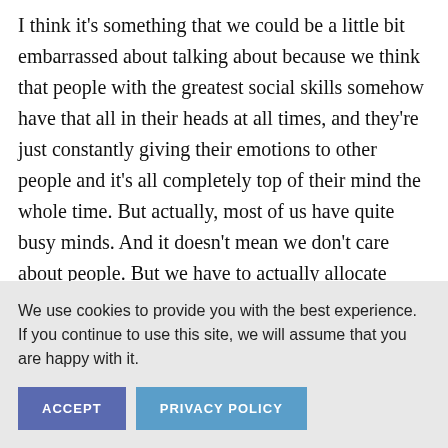I think it's something that we could be a little bit embarrassed about talking about because we think that people with the greatest social skills somehow have that all in their heads at all times, and they're just constantly giving their emotions to other people and it's all completely top of their mind the whole time. But actually, most of us have quite busy minds. And it doesn't mean we don't care about people. But we have to actually allocate some attention and resources to that building of relationships and maintaining them, not when there's a problem, but in a way, without sounding
We use cookies to provide you with the best experience. If you continue to use this site, we will assume that you are happy with it.
ACCEPT
PRIVACY POLICY